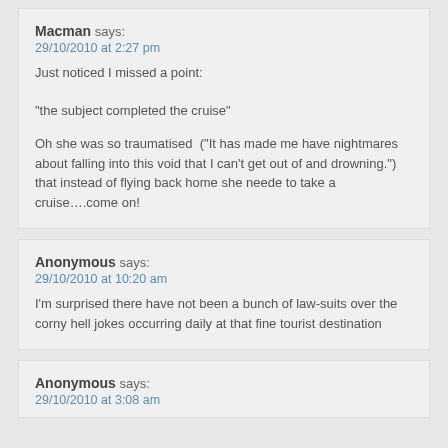Macman says:
29/10/2010 at 2:27 pm
Just noticed I missed a point:
"the subject completed the cruise"
Oh she was so traumatised  ("It has made me have nightmares about falling into this void that I can't get out of and drowning.")   that instead of flying back home she neede to take a cruise….come on!
Anonymous says:
29/10/2010 at 10:20 am
I'm surprised there have not been a bunch of law-suits over the corny hell jokes occurring daily at that fine tourist destination
Anonymous says:
29/10/2010 at 3:08 am